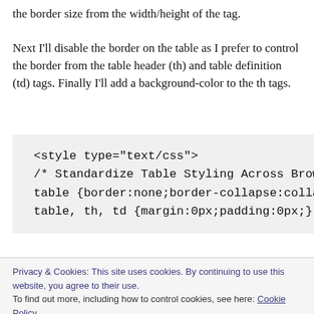the border size from the width/height of the tag.

Next I'll disable the border on the table as I prefer to control the border from the table header (th) and table definition (td) tags. Finally I'll add a background-color to the th tags.
<style type="text/css">
/* Standardize Table Styling Across Brows
table {border:none;border-collapse:collap
table, th, td {margin:0px;padding:0px;}
Privacy & Cookies: This site uses cookies. By continuing to use this website, you agree to their use.
To find out more, including how to control cookies, see here: Cookie Policy